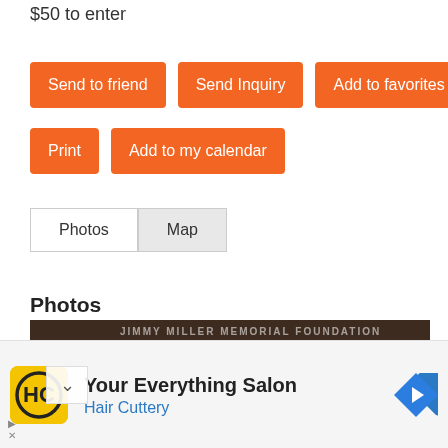$50 to enter
Send to friend
Send Inquiry
Add to favorites
Print
Add to my calendar
Photos | Map
Photos
[Figure (photo): The Jimmy Miller Memorial Foundation logo/banner — dark brown background with white text reading 'JIMMY MILLER MEMORIAL FOUNDATION' at top and large white bold letters 'THE JIMMY' visible]
[Figure (advertisement): Ad banner: Hair Cuttery — Your Everything Salon, with yellow HC logo and blue navigation arrow icon]